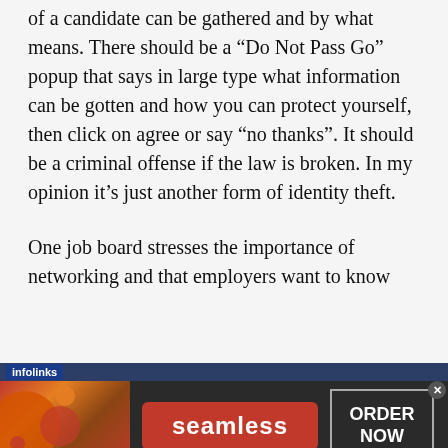of a candidate can be gathered and by what means. There should be a “Do Not Pass Go” popup that says in large type what information can be gotten and how you can protect yourself, then click on agree or say “no thanks”. It should be a criminal offense if the law is broken. In my opinion it’s just another form of identity theft.

One job board stresses the importance of networking and that employers want to know
[Figure (screenshot): Seamless food ordering advertisement banner with pizza image on left, red Seamless logo in center, and ORDER NOW button on right, with infolinks label and close button.]